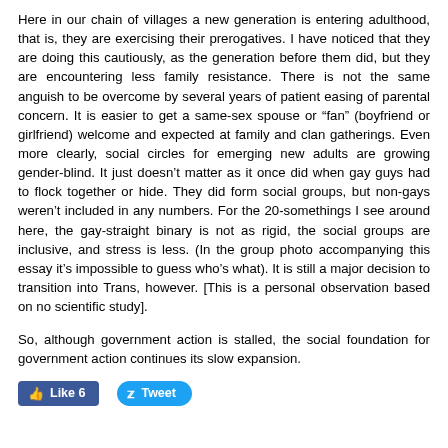Here in our chain of villages a new generation is entering adulthood, that is, they are exercising their prerogatives.  I have noticed that they are doing this cautiously, as the generation before them did, but they are encountering less family resistance.  There is not the same anguish to be overcome by several years of patient easing of parental concern.  It is easier to get a same-sex spouse or "fan" (boyfriend or girlfriend) welcome and expected at family and clan gatherings.  Even more clearly, social circles for emerging new adults are growing gender-blind.  It just doesn't matter as it once did when gay guys had to flock together or hide.  They did form social groups, but non-gays weren't included in any numbers.  For the 20-somethings I see around here, the gay-straight binary is not as rigid, the social groups are inclusive, and stress is less. (In the group photo accompanying this essay it's impossible to guess who's what).  It is still a major decision to transition into Trans, however.  [This is a personal observation based on no scientific study].
So, although government action is stalled, the social foundation for government action continues its slow expansion.
[Figure (other): Social media buttons: Facebook Like (count 6) and Twitter Tweet buttons]